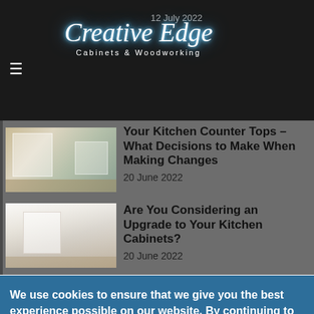Creative Edge Cabinets & Woodworking — 12 July 2022
Your Kitchen Counter Tops – What Decisions to Make When Making Changes
20 June 2022
Are You Considering an Upgrade to Your Kitchen Cabinets?
20 June 2022
We use cookies to ensure that we give you the best experience possible on our website. By continuing to use our website you are accepting the use of cookies on our website. View our privacy policy here for more information.
I accept